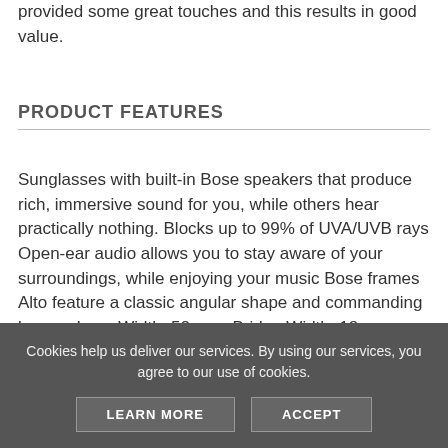provided some great touches and this results in good value.
PRODUCT FEATURES
Sunglasses with built-in Bose speakers that produce rich, immersive sound for you, while others hear practically nothing. Blocks up to 99% of UVA/UVB rays Open-ear audio allows you to stay aware of your surroundings, while enjoying your music Bose frames Alto feature a classic angular shape and commanding lenses. Lens Width: 52 mm, Bridge Width: 18 mm, Temple Length: 162 mm Integrated microphone for clear calls and access to your phone?s virtual assistant Personalized settings, access to
Cookies help us deliver our services. By using our services, you agree to our use of cookies.
LEARN MORE
ACCEPT